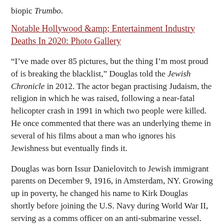biopic Trumbo.
Notable Hollywood & Entertainment Industry Deaths In 2020: Photo Gallery
“I’ve made over 85 pictures, but the thing I’m most proud of is breaking the blacklist,” Douglas told the Jewish Chronicle in 2012. The actor began practising Judaism, the religion in which he was raised, following a near-fatal helicopter crash in 1991 in which two people were killed. He once commented that there was an underlying theme in several of his films about a man who ignores his Jewishness but eventually finds it.
Douglas was born Issur Danielovitch to Jewish immigrant parents on December 9, 1916, in Amsterdam, NY. Growing up in poverty, he changed his name to Kirk Douglas shortly before joining the U.S. Navy during World War II, serving as a comms officer on an anti-submarine vessel. Douglas recalled having more than 40 jobs before becoming an actor. He received a scholarship to attend the American Academy of Dramatic Arts, studying alongside Lauren